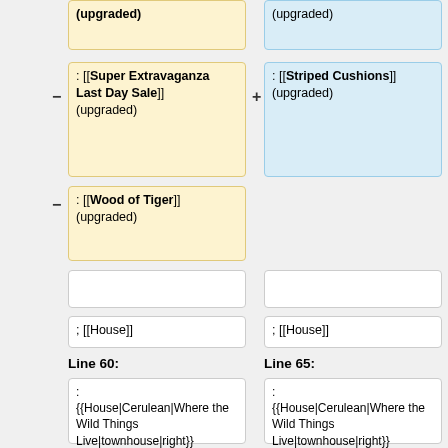[Figure (other): Wiki diff view showing two columns of wikitext changes. Left column shows removed/changed content (yellow highlighted), right column shows added/changed content (blue highlighted). Content includes wiki markup for Super Extravaganza Last Day Sale, Striped Cushions, Wood of Tiger, House links, Line 60/65 labels, House|Cerulean template calls, and Inn/Indian Melody entries.]